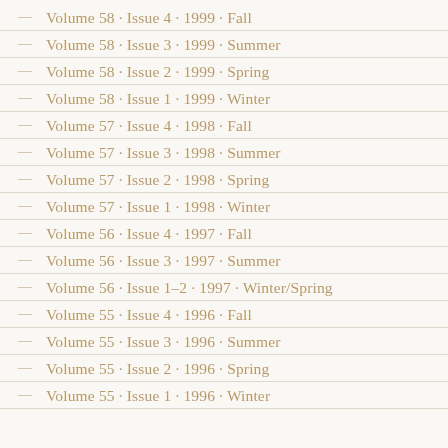Volume 58 · Issue 4 · 1999 · Fall
Volume 58 · Issue 3 · 1999 · Summer
Volume 58 · Issue 2 · 1999 · Spring
Volume 58 · Issue 1 · 1999 · Winter
Volume 57 · Issue 4 · 1998 · Fall
Volume 57 · Issue 3 · 1998 · Summer
Volume 57 · Issue 2 · 1998 · Spring
Volume 57 · Issue 1 · 1998 · Winter
Volume 56 · Issue 4 · 1997 · Fall
Volume 56 · Issue 3 · 1997 · Summer
Volume 56 · Issue 1–2 · 1997 · Winter/Spring
Volume 55 · Issue 4 · 1996 · Fall
Volume 55 · Issue 3 · 1996 · Summer
Volume 55 · Issue 2 · 1996 · Spring
Volume 55 · Issue 1 · 1996 · Winter